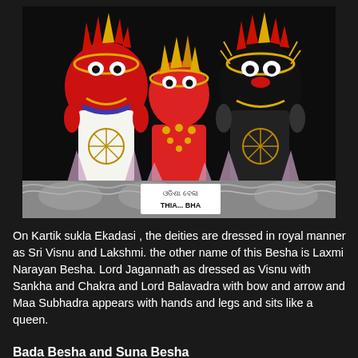[Figure (photo): Three Hindu deity figurines (Lord Jagannath, Maa Subhadra, and Lord Balavadra) dressed in royal Besha attire with gold and red ornaments, crowns, and decorative items, displayed against a dark background. Below the figurines is a decorative platform with a sign showing Odia script and text reading THIA... BHA.]
On Kartik sukla Ekadasi , the deities are dressed in royal manner as Sri Visnu and Lakshmi. the other name of this Besha is Laxmi Narayan Besha. Lord Jagannath as dressed as Visnu with Sankha and Chakra and Lord Balavadra with bow and arrow and Maa Subhadra appears with hands and legs and sits like a queen.
Bada Besha and Suna Besha